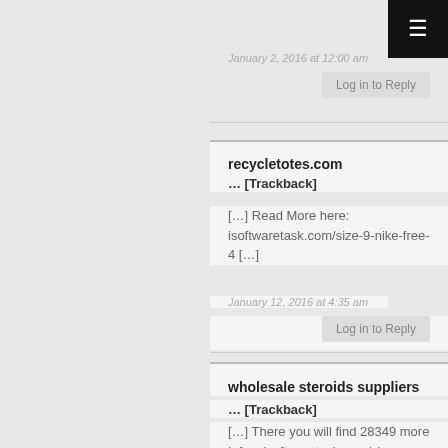January 2, 2016 at 12:00 am
Log in to Reply
recycletotes.com
... [Trackback]
[...] Read More here: isoftwaretask.com/size-9-nike-free-4 [...]
January 12, 2016 at 4:35 am
Log in to Reply
wholesale steroids suppliers
... [Trackback]
[...] There you will find 28349 more Infos: isoftwaretask.com/size-9-nike-free-4 [...]
January 13, 2016 at 3:11 am
Log in to Reply